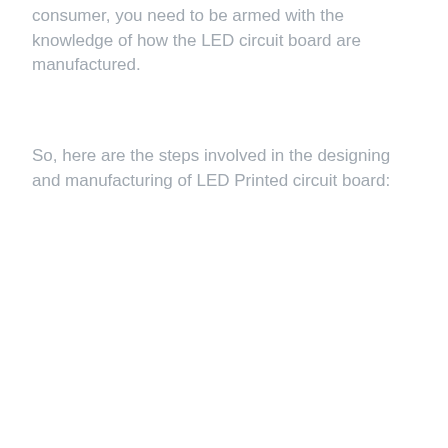consumer, you need to be armed with the knowledge of how the LED circuit board are manufactured.
So, here are the steps involved in the designing and manufacturing of LED Printed circuit board: